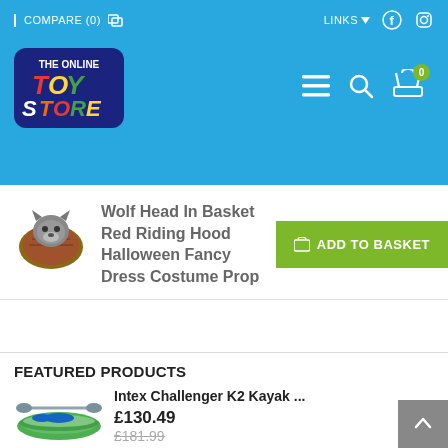COMPARE (0)  LINKS  f  [instagram]
[Figure (logo): The Online Toy Store logo — colorful text on dark blue background]
Wolf Head In Basket Red Riding Hood Halloween Fancy Dress Costume Prop
ADD TO BASKET
FEATURED PRODUCTS
Intex Challenger K2 Kayak ...
£130.49
£181.99